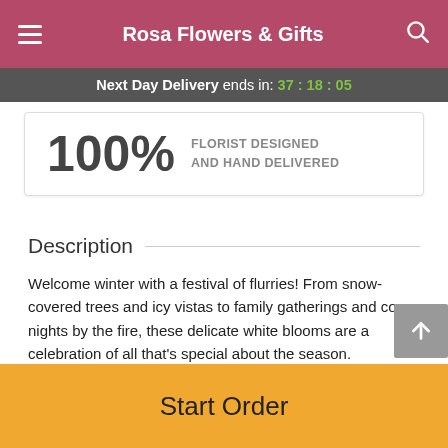Rosa Flowers & Gifts
Next Day Delivery ends in: 37:18:05
100% FLORIST DESIGNED AND HAND DELIVERED
Description
Welcome winter with a festival of flurries! From snow-covered trees and icy vistas to family gatherings and cozy nights by the fire, these delicate white blooms are a celebration of all that's special about the season.
Treat them to white carnations arranged with airy baby's
Start Order